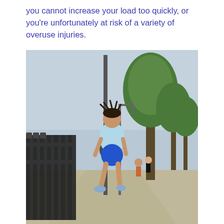you cannot increase your load too quickly, or you're unfortunately at risk of a variety of overuse injuries.
[Figure (photo): A man with dreadlocks wearing a light blue tank top and blue shorts running on an outdoor path or promenade. There is a black iron fence on the left, tall street lamps, and green trees on the right. Other people are visible in the background further down the path.]